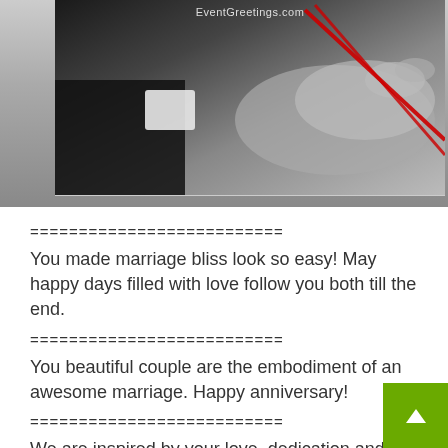[Figure (photo): Black and white photo of a couple's hands with a red ribbon/string, with EventGreetings.com watermark at top]
==========================
You made marriage bliss look so easy! May happy days filled with love follow you both till the end.
==========================
You beautiful couple are the embodiment of an awesome marriage. Happy anniversary!
==========================
We are inspired by your love, dedication and commitment to one another. Happy anniversa…